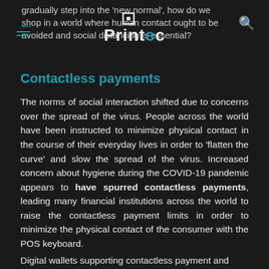gradually step into the 'new normal', how do we shop in a world where human contact ought to be avoided and social distancing is essential?
Contactless payments
The norms of social interaction shifted due to concerns over the spread of the virus. People across the world have been instructed to minimize physical contact in the course of their everyday lives in order to 'flatten the curve' and slow the spread of the virus. Increased concern about hygiene during the COVID-19 pandemic appears to have spurred contactless payments, leading many financial institutions across the world to raise the contactless payment limits in order to minimize the physical contact of the consumer with the POS keyboard.
Digital wallets supporting contactless payment and